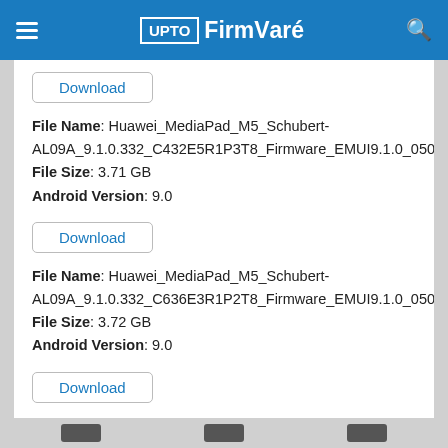UPTO FirmVVaré
Download (button - partial, top)
File Name: Huawei_MediaPad_M5_Schubert-AL09A_9.1.0.332_C432E5R1P3T8_Firmware_EMUI9.1.0_05014XYF_Dload.zip
File Size: 3.71 GB
Android Version: 9.0
Download (button)
File Name: Huawei_MediaPad_M5_Schubert-AL09A_9.1.0.332_C636E3R1P2T8_Firmware_EMUI9.1.0_05015AHY_Dload.zip
File Size: 3.72 GB
Android Version: 9.0
Download (button)